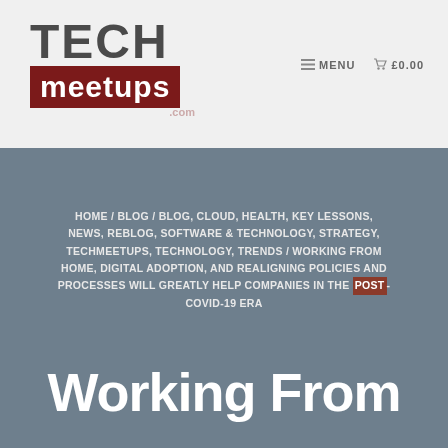[Figure (logo): TechMeetups logo: TECH in bold gray letters above a dark red box with 'meetups' in white, with '.com' text]
≡ MENU  🛒 £0.00
HOME / BLOG / BLOG, CLOUD, HEALTH, KEY LESSONS, NEWS, REBLOG, SOFTWARE & TECHNOLOGY, STRATEGY, TECHMEETUPS, TECHNOLOGY, TRENDS / WORKING FROM HOME, DIGITAL ADOPTION, AND REALIGNING POLICIES AND PROCESSES WILL GREATLY HELP COMPANIES IN THE POST-COVID-19 ERA
Working From